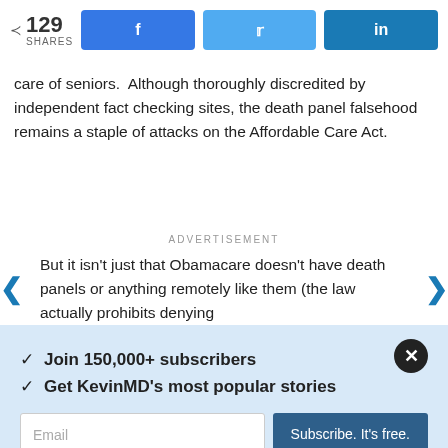[Figure (other): Social share bar with 129 shares count and Facebook, Twitter, LinkedIn buttons]
care of seniors.  Although thoroughly discredited by independent fact checking sites, the death panel falsehood remains a staple of attacks on the Affordable Care Act.
ADVERTISEMENT
But it isn't just that Obamacare doesn't have death panels or anything remotely like them (the law actually prohibits denying
✓ Join 150,000+ subscribers
✓ Get KevinMD's most popular stories
Email | Subscribe. It's free.